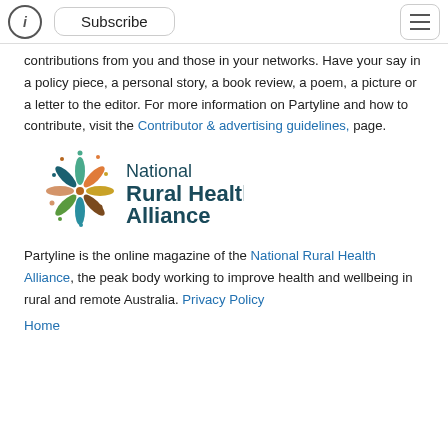Subscribe
contributions from you and those in your networks. Have your say in a policy piece, a personal story, a book review, a poem, a picture or a letter to the editor. For more information on Partyline and how to contribute, visit the Contributor & advertising guidelines, page.
[Figure (logo): National Rural Health Alliance logo — colourful leaf/petal motif on the left, bold dark teal text 'National Rural Health Alliance' on the right]
Partyline is the online magazine of the National Rural Health Alliance, the peak body working to improve health and wellbeing in rural and remote Australia. Privacy Policy
Home